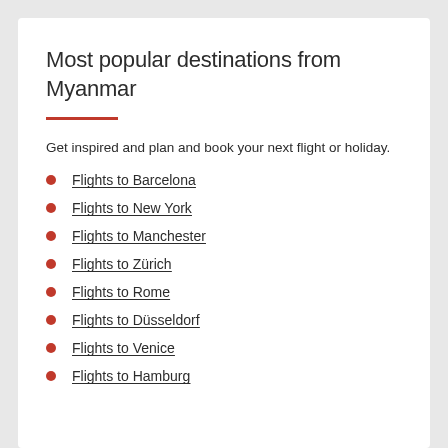Most popular destinations from Myanmar
Get inspired and plan and book your next flight or holiday.
Flights to Barcelona
Flights to New York
Flights to Manchester
Flights to Zürich
Flights to Rome
Flights to Düsseldorf
Flights to Venice
Flights to Hamburg